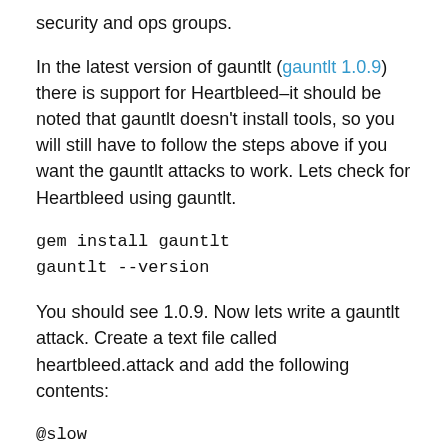security and ops groups.
In the latest version of gauntlt (gauntlt 1.0.9) there is support for Heartbleed–it should be noted that gauntlt doesn't install tools, so you will still have to follow the steps above if you want the gauntlt attacks to work. Lets check for Heartbleed using gauntlt.
gem install gauntlt
gauntlt --version
You should see 1.0.9. Now lets write a gauntlt attack. Create a text file called heartbleed.attack and add the following contents:
@slow
Feature: Test for the Heartbleed
vulnerability